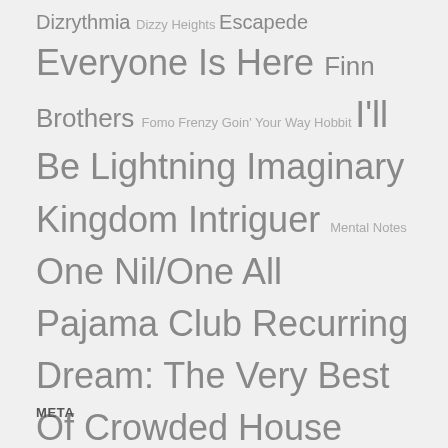Dizrythmia Dizzy Heights Escapede Everyone Is Here Finn Brothers Fomo Frenzy Goin' Your Way Hobbit I'll Be Lightning Imaginary Kingdom Intriguer Mental Notes One Nil/One All Pajama Club Recurring Dream: The Very Best Of Crowded House Reunion Tour Say It Is So Second Thoughts Split Enz Compilation Temple Of Low Men The Conversation The Sound Of Trees The Sun Came Out The Very Very Best Of Crowded House The View Is Worth The Climb Time And Tide Time On Earth Tim Finn Together Alone Together In Concert True Colours Try Whistling This Woodface
META